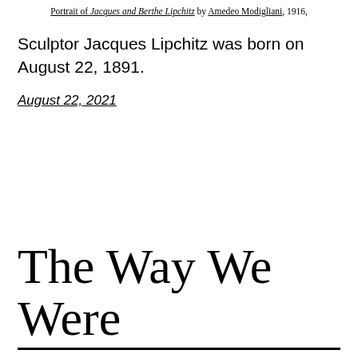Portrait of Jacques and Berthe Lipchitz by Amedeo Modigliani, 1916,
Sculptor Jacques Lipchitz was born on August 22, 1891.
August 22, 2021
The Way We Were